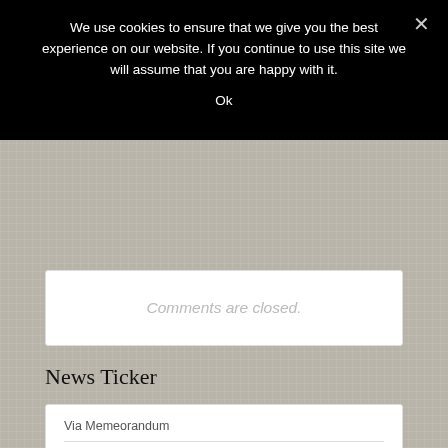We use cookies to ensure that we give you the best experience on our website. If you continue to use this site we will assume that you are happy with it.
Ok
Comments are closed.
News Ticker
Via Memeorandum
Redacted Mar-a-Lago search affidavit to be released by noon Friday (Perry Stein/Washington Post)
Aug 25, 2022 4:15 PM